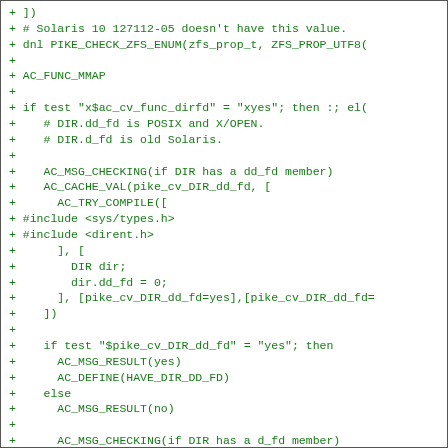[Figure (screenshot): Code diff snippet showing shell script / autoconf macro additions in green, including AC_FUNC_MMAP, AC_MSG_CHECKING, AC_CACHE_VAL, AC_TRY_COMPILE blocks, and conditional logic for DIR dd_fd and d_fd member checks.]